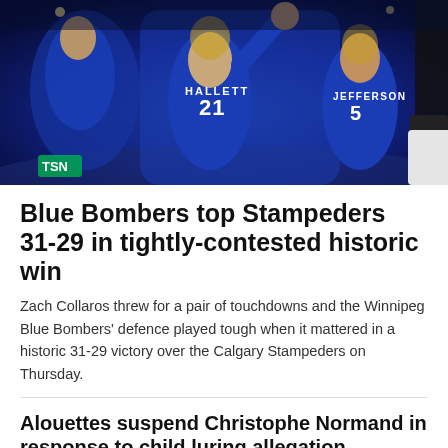[Figure (photo): Football players in blue Winnipeg Blue Bombers uniforms celebrating. Player #21 HALLETT and player #5 JEFFERSON visible.]
Blue Bombers top Stampeders 31-29 in tightly-contested historic win
Zach Collaros threw for a pair of touchdowns and the Winnipeg Blue Bombers' defence played tough when it mattered in a historic 31-29 victory over the Calgary Stampeders on Thursday.
Alouettes suspend Christophe Normand in response to child luring allegation
George Foreman accused of sexual abuse by daughters of his former associates, lawsuits show